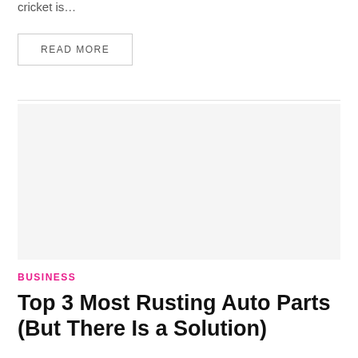cricket is…
READ MORE
[Figure (photo): Large image placeholder area (light gray background)]
BUSINESS
Top 3 Most Rusting Auto Parts (But There Is a Solution)